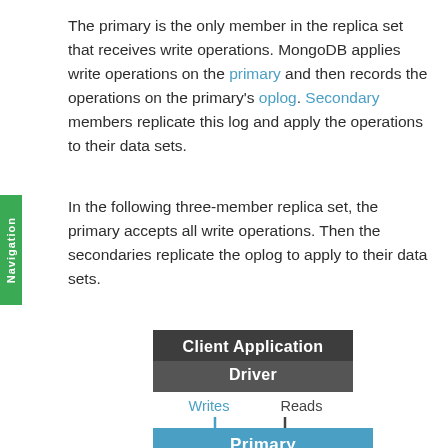The primary is the only member in the replica set that receives write operations. MongoDB applies write operations on the primary and then records the operations on the primary's oplog. Secondary members replicate this log and apply the operations to their data sets.
In the following three-member replica set, the primary accepts all write operations. Then the secondaries replicate the oplog to apply to their data sets.
[Figure (flowchart): Flowchart showing a Client Application Driver box at top (dark gray, two sections: 'Client Application' and 'Driver'). Two arrows point down from it: a blue arrow labeled 'Writes' on the left and a dark arrow labeled 'Reads' on the right, both pointing to a blue 'Primary' box at the bottom.]